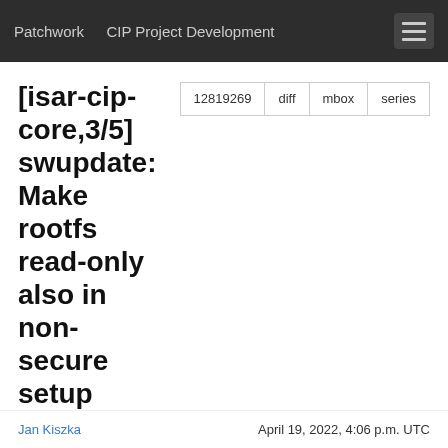Patchwork   CIP Project Development
[isar-cip-core,3/5] swupdate: Make rootfs read-only also in non-secure setup
| Field | Value |
| --- | --- |
| Message ID | 35eb6427e61911e9b209169271a043c9ebafa76a.16503... (mailing list archive) |
| State | New |
| Headers | show |
| Series | Read-only rootfs for non-secure swupdate / cleanups / f... |
Commit Message
Jan Kiszka   April 19, 2022, 4:06 p.m. UTC